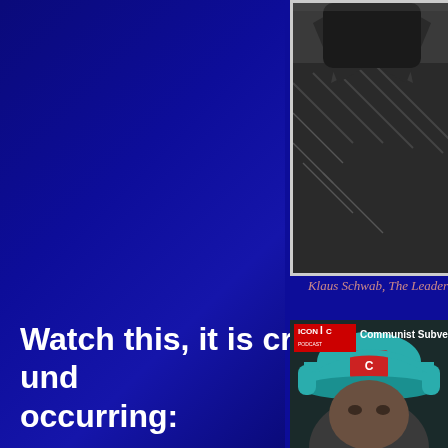[Figure (photo): Cropped photo of Klaus Schwab wearing a dark quilted jacket, upper body visible, black and white/dark tones]
Klaus Schwab, The Leader
Watch this, it is crucial to und occurring:
[Figure (screenshot): Video thumbnail from Iconic Podcast showing a person wearing a teal/turquoise cap and headphones, with title text 'Communist Subversion | A Plan']